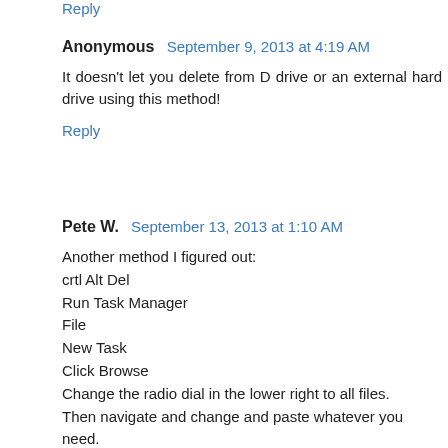Reply
Anonymous  September 9, 2013 at 4:19 AM
It doesn't let you delete from D drive or an external hard drive using this method!
Reply
Pete W.  September 13, 2013 at 1:10 AM
Another method I figured out:
crtl Alt Del
Run Task Manager
File
New Task
Click Browse
Change the radio dial in the lower right to all files.
Then navigate and change and paste whatever you need.
Reply